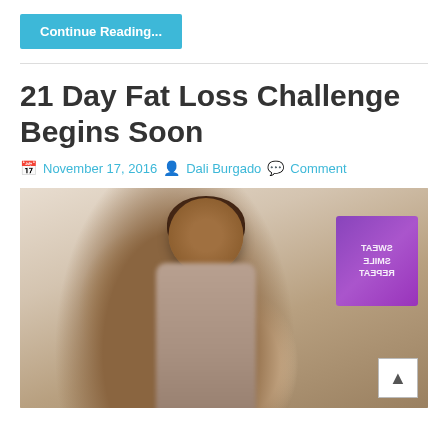Continue Reading...
21 Day Fat Loss Challenge Begins Soon
November 17, 2016  Dali Burgado  Comment
[Figure (photo): Photo of a woman with long brown hair standing in front of a white wall, with a purple motivational poster (SWEAT SMILE REPEAT) visible in the background. A back-to-top arrow button is in the bottom-right corner.]